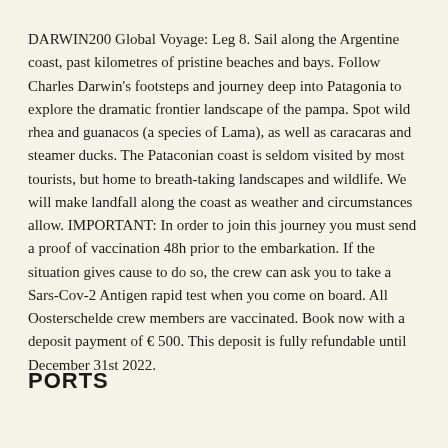DARWIN200 Global Voyage: Leg 8. Sail along the Argentine coast, past kilometres of pristine beaches and bays. Follow Charles Darwin's footsteps and journey deep into Patagonia to explore the dramatic frontier landscape of the pampa. Spot wild rhea and guanacos (a species of Lama), as well as caracaras and steamer ducks. The Pataconian coast is seldom visited by most tourists, but home to breath-taking landscapes and wildlife. We will make landfall along the coast as weather and circumstances allow. IMPORTANT: In order to join this journey you must send a proof of vaccination 48h prior to the embarkation. If the situation gives cause to do so, the crew can ask you to take a Sars-Cov-2 Antigen rapid test when you come on board. All Oosterschelde crew members are vaccinated. Book now with a deposit payment of € 500. This deposit is fully refundable until December 31st 2022.
PORTS